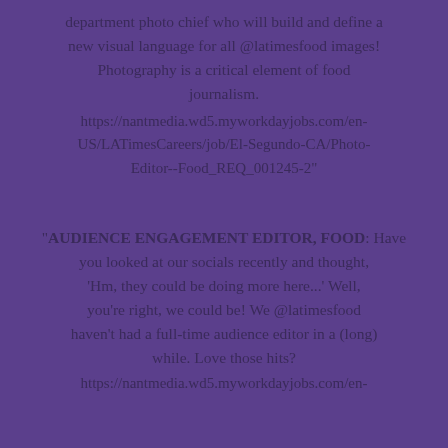department photo chief who will build and define a new visual language for all @latimesfood images! Photography is a critical element of food journalism.
https://nantmedia.wd5.myworkdayjobs.com/en-US/LATimesCareers/job/El-Segundo-CA/Photo-Editor--Food_REQ_001245-2"
"AUDIENCE ENGAGEMENT EDITOR, FOOD: Have you looked at our socials recently and thought, 'Hm, they could be doing more here...' Well, you're right, we could be! We @latimesfood haven't had a full-time audience editor in a (long) while. Love those hits?
https://nantmedia.wd5.myworkdayjobs.com/en-